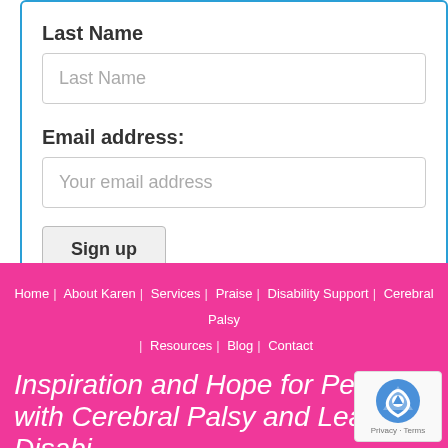Last Name
Last Name (input placeholder)
Email address:
Your email address (input placeholder)
Sign up
Home | About Karen | Services | Praise | Disability Support | Cerebral Palsy | Resources | Blog | Contact
Inspiration and Hope for People with Cerebral Palsy and Learning Disabi...